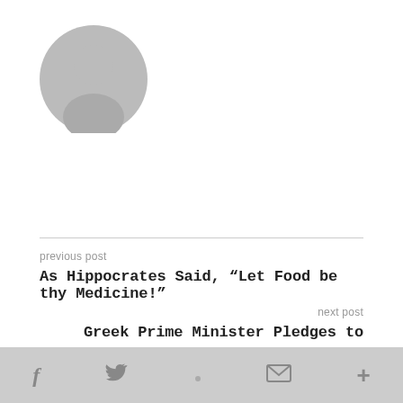[Figure (illustration): Gray default user avatar icon — circular silhouette with head and shoulders]
previous post
As Hippocrates Said, “Let Food be thy Medicine!”
next post
Greek Prime Minister Pledges to Implement Smoking Ban
YOU MAY ALSO LIKE
f  �  ✉  +